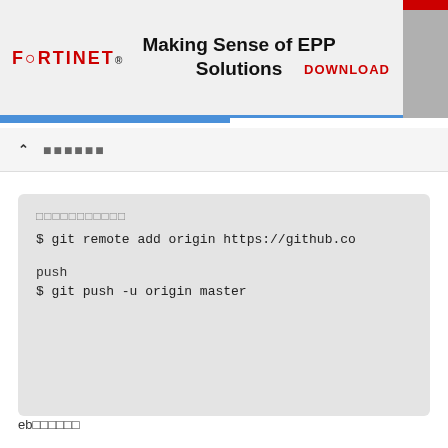FORTINET | Making Sense of EPP Solutions | DOWNLOAD
▲ ▓▓▓▓▓▓
▓▓▓▓▓▓▓▓▓▓▓
$ git remote add origin https://github.co

push
$ git push -u origin master
eb▓▓▓▓▓▓